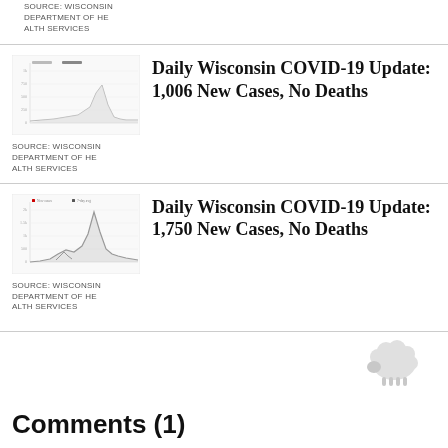[Figure (screenshot): Thumbnail chart of Wisconsin COVID-19 data (partially visible at top)]
SOURCE: WISCONSIN DEPARTMENT OF HEALTH SERVICES
[Figure (screenshot): Thumbnail chart of Wisconsin COVID-19 daily new cases with a spike visible]
Daily Wisconsin COVID-19 Update: 1,006 New Cases, No Deaths
SOURCE: WISCONSIN DEPARTMENT OF HEALTH SERVICES
[Figure (screenshot): Thumbnail chart of Wisconsin COVID-19 daily new cases with a larger spike visible]
Daily Wisconsin COVID-19 Update: 1,750 New Cases, No Deaths
SOURCE: WISCONSIN DEPARTMENT OF HEALTH SERVICES
[Figure (illustration): Small sheep/goat icon in light gray]
Comments (1)